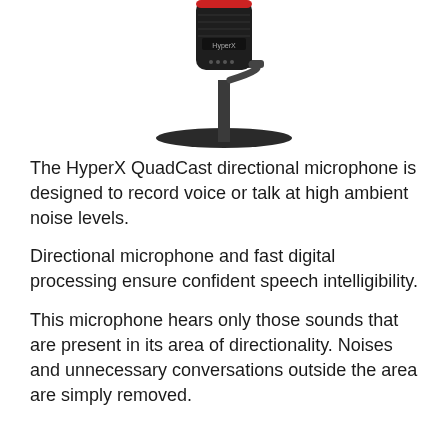[Figure (photo): HyperX QuadCast directional microphone on a round stand, black with red accents, shown against a white background, partially cropped at the top.]
The HyperX QuadCast directional microphone is designed to record voice or talk at high ambient noise levels.
Directional microphone and fast digital processing ensure confident speech intelligibility.
This microphone hears only those sounds that are present in its area of directionality. Noises and unnecessary conversations outside the area are simply removed.